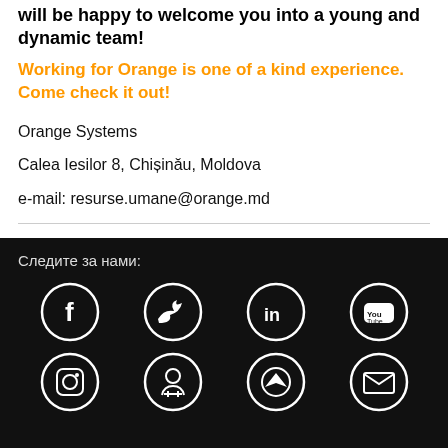will be happy to welcome you into a young and dynamic team!
Working for Orange is one of a kind experience. Come check it out!
Orange Systems
Calea Iesilor 8, Chișinău, Moldova
e-mail: resurse.umane@orange.md
[Figure (infographic): Row of social share icons: print, Facebook, Twitter, LinkedIn, email, star/bookmark]
Следите за нами:
[Figure (infographic): Grid of 8 social media icons in circles on black background: Facebook, Twitter, LinkedIn, YouTube, Instagram, Odnoklassniki, Telegram, Email]